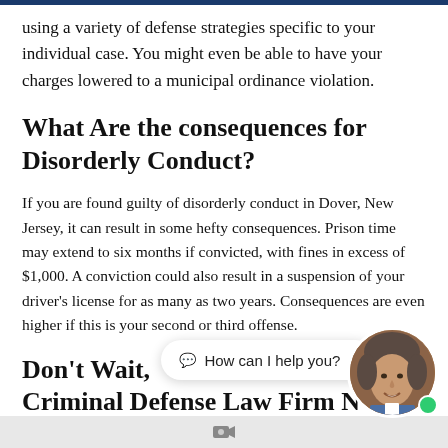using a variety of defense strategies specific to your individual case. You might even be able to have your charges lowered to a municipal ordinance violation.
What Are the consequences for Disorderly Conduct?
If you are found guilty of disorderly conduct in Dover, New Jersey, it can result in some hefty consequences. Prison time may extend to six months if convicted, with fines in excess of $1,000. A conviction could also result in a suspension of your driver’s license for as many as two years. Consequences are even higher if this is your second or third offense.
Don’t Wait, Criminal Defense Law Firm N
[Figure (photo): Circular avatar photo of a man with grey hair smiling, with a green online indicator dot]
💬 How can I help you?